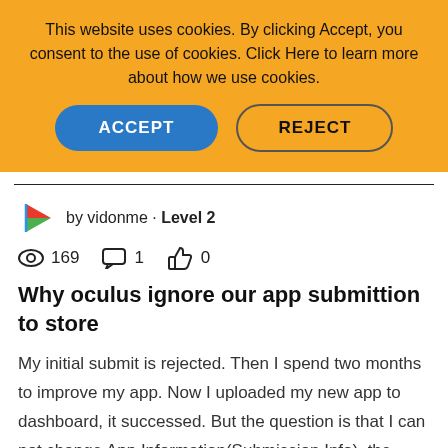This website uses cookies. By clicking Accept, you consent to the use of cookies. Click Here to learn more about how we use cookies.
ACCEPT   REJECT
by vidonme · Level 2
169   1   0
Why oculus ignore our app submittion to store
My initial submit is rejected. Then I spend two months to improve my app. Now I uploaded my new app to dashboard, it successed. But the question is that I can not change App Information(Submission Info), the button Update App Info in dashboard is dis...